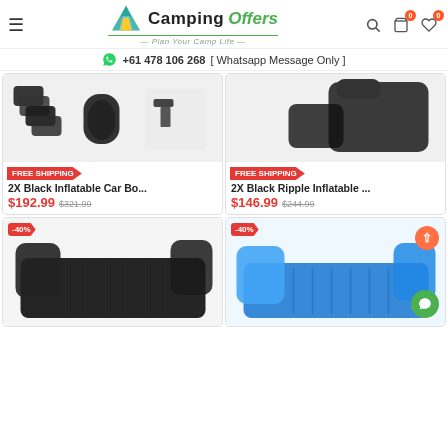Camping Offers — Plan Your Camp Life
+61 478 106 268 [ Whatsapp Message Only ]
[Figure (photo): 2X Black Inflatable Car Bo... product image showing pillows and accessories]
FREE SHIPPING
2X Black Inflatable Car Bo...
$192.99  $321.99
[Figure (photo): 2X Black Ripple Inflatable ... product image showing black inflatable car mattress]
FREE SHIPPING
2X Black Ripple Inflatable ...
$146.99  $244.99
[Figure (photo): Black inflatable car mattress with -40% discount badge]
[Figure (photo): Blue inflatable car mattress with -40% discount badge]